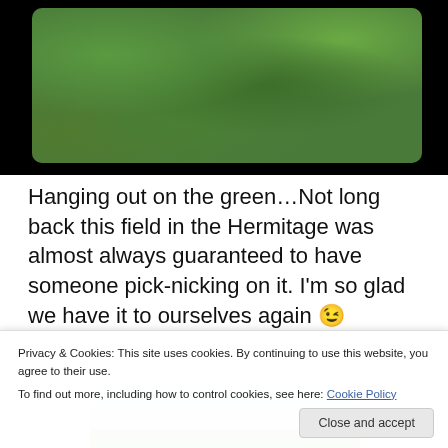[Figure (photo): A close-up photo of a green grassy field viewed from above, with the image shown inside a rounded-corner frame on a black background.]
Hanging out on the green…Not long back this field in the Hermitage was almost always guaranteed to have someone pick-nicking on it. I'm so glad we have it to ourselves again 😉
[Figure (photo): A photo partially visible showing a cloudy sky above a grassy area, partially obscured by the cookie consent banner.]
Privacy & Cookies: This site uses cookies. By continuing to use this website, you agree to their use.
To find out more, including how to control cookies, see here: Cookie Policy
Close and accept